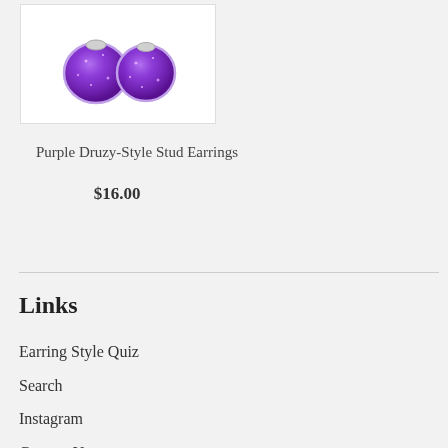[Figure (photo): Purple druzy-style stud earrings — two round sparkly purple earrings with silver settings on a white background]
Purple Druzy-Style Stud Earrings
$16.00
Links
Earring Style Quiz
Search
Instagram
Contact Us